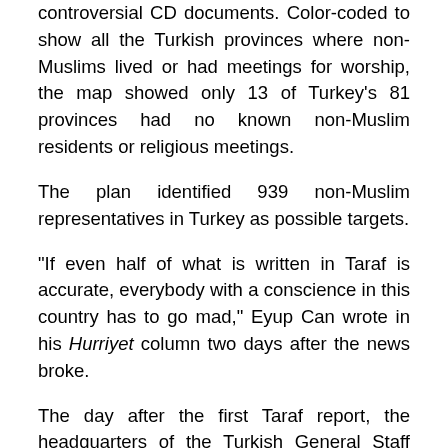controversial CD documents. Color-coded to show all the Turkish provinces where non-Muslims lived or had meetings for worship, the map showed only 13 of Turkey's 81 provinces had no known non-Muslim residents or religious meetings.
The plan identified 939 non-Muslim representatives in Turkey as possible targets.
“If even half of what is written in Taraf is accurate, everybody with a conscience in this country has to go mad,” Eyup Can wrote in his Hurriyet column two days after the news broke.
The day after the first Taraf report, the headquarters of the Turkish General Staff filed a criminal complaint against the daily with the Justice Ministry, declaring its coverage a “clear violation” of the laws protecting ongoing prosecution